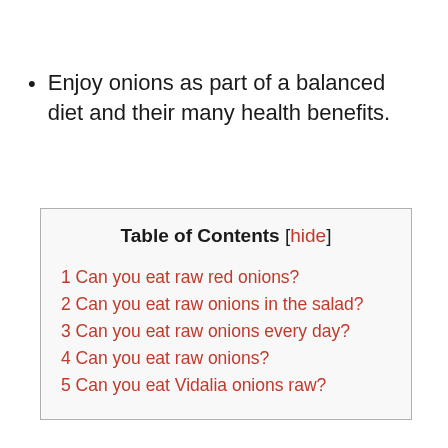Enjoy onions as part of a balanced diet and their many health benefits.
| Table of Contents [hide] |
| 1 Can you eat raw red onions? |
| 2 Can you eat raw onions in the salad? |
| 3 Can you eat raw onions every day? |
| 4 Can you eat raw onions? |
| 5 Can you eat Vidalia onions raw? |